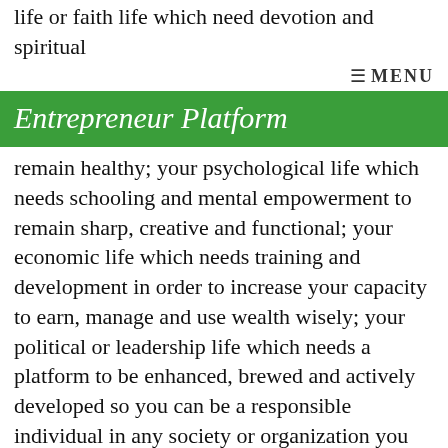life or faith life which need devotion and spiritual
≡ MENU
Entrepreneur Platform
remain healthy; your psychological life which needs schooling and mental empowerment to remain sharp, creative and functional; your economic life which needs training and development in order to increase your capacity to earn, manage and use wealth wisely; your political or leadership life which needs a platform to be enhanced, brewed and actively developed so you can be a responsible individual in any society or organization you find yourself and finally, your social life which has to be grooved so you can be able to relate and interrelate with people whether in the family or at work place. All of these contribute to your true success as an individual. If you are found deficient in one of this area it usually affects the other area in some way.
Imagine that you are very spiritual but have no